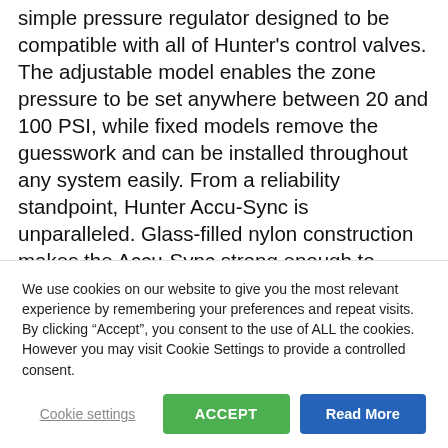simple pressure regulator designed to be compatible with all of Hunter's control valves. The adjustable model enables the zone pressure to be set anywhere between 20 and 100 PSI, while fixed models remove the guesswork and can be installed throughout any system easily. From a reliability standpoint, Hunter Accu-Sync is unparalleled. Glass-filled nylon construction makes the Accu-Sync strong enough to handle the rigors of any project. No matter which model you choose, all zones stay in tune with Accu-Sync.
We use cookies on our website to give you the most relevant experience by remembering your preferences and repeat visits. By clicking “Accept”, you consent to the use of ALL the cookies. However you may visit Cookie Settings to provide a controlled consent.
Cookie settings | ACCEPT | Read More